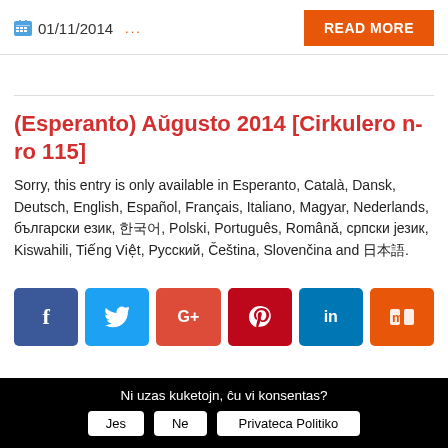01/11/2014  ...  READ MORE
(Esperanto) Aŭgusto 2014 [Cirkulero n-ro 115]
Sorry, this entry is only available in Esperanto, Català, Dansk, Deutsch, English, Español, Français, Italiano, Magyar, Nederlands, български език, 한국어, Polski, Português, Română, српски језик, Kiswahili, Tiếng Việt, Русский, Čeština, Slovenčina and 日本語.
[Figure (infographic): Social sharing buttons: Facebook (blue), Twitter (light blue), Google+ (red), Pinterest (dark red), LinkedIn (dark blue), Stumbleupon/Mixx (orange)]
Ni uzas kuketojn, ĉu vi konsentas?
Jes
Ne
Privateca Politiko